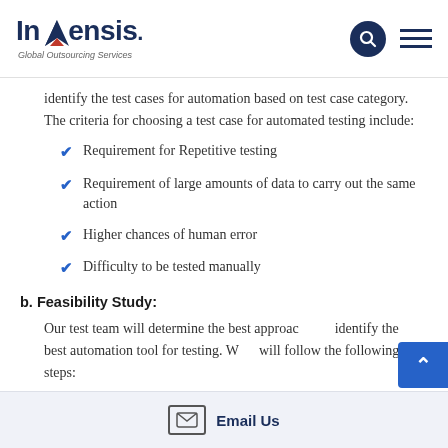Invensis - Global Outsourcing Services
identify the test cases for automation based on test case category. The criteria for choosing a test case for automated testing include:
Requirement for Repetitive testing
Requirement of large amounts of data to carry out the same action
Higher chances of human error
Difficulty to be tested manually
b. Feasibility Study:
Our test team will determine the best approach and identify the best automation tool for testing. We will follow the following steps:
Email Us